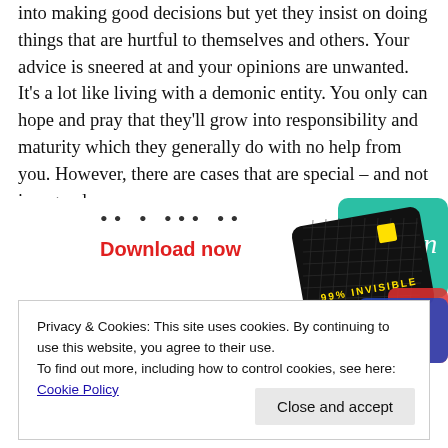into making good decisions but yet they insist on doing things that are hurtful to themselves and others. Your advice is sneered at and your opinions are unwanted. It's a lot like living with a demonic entity. You only can hope and pray that they'll grow into responsibility and maturity which they generally do with no help from you. However, there are cases that are special – and not in a good way.
[Figure (other): Advertisement banner with 'Download now' text in red and a podcast/app image showing '99% INVISIBLE' on a dark background with colorful cards]
Privacy & Cookies: This site uses cookies. By continuing to use this website, you agree to their use.
To find out more, including how to control cookies, see here: Cookie Policy